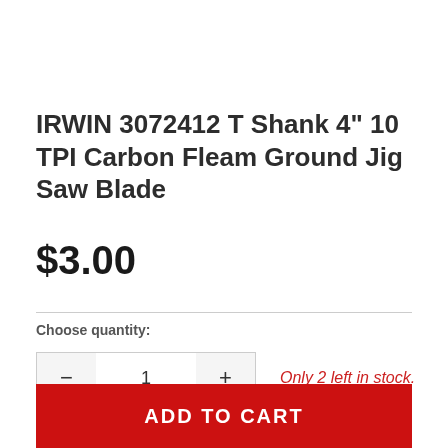IRWIN 3072412 T Shank 4" 10 TPI Carbon Fleam Ground Jig Saw Blade
$3.00
Choose quantity:
Only 2 left in stock.
ADD TO CART